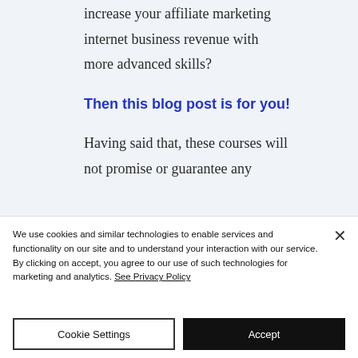increase your affiliate marketing internet business revenue with more advanced skills?

Then this blog post is for you!

Having said that, these courses will not promise or guarantee any
We use cookies and similar technologies to enable services and functionality on our site and to understand your interaction with our service. By clicking on accept, you agree to our use of such technologies for marketing and analytics. See Privacy Policy